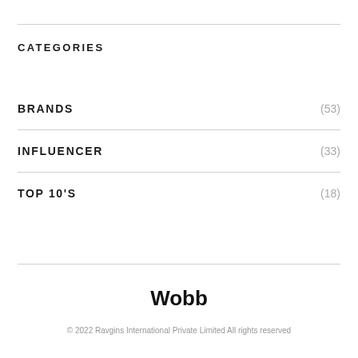CATEGORIES
BRANDS (53)
INFLUENCER (33)
TOP 10'S (18)
Wobb
© 2022 Ravgins International Private Limited All rights reserved